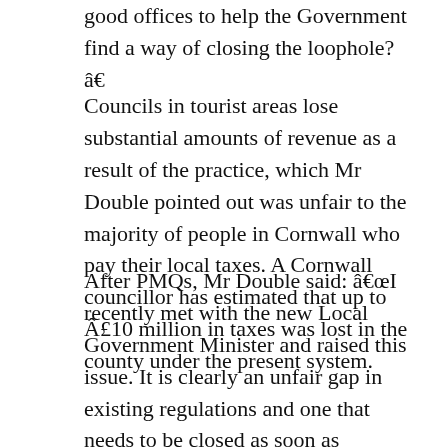good offices to help the Government find a way of closing the loophole?â€
Councils in tourist areas lose substantial amounts of revenue as a result of the practice, which Mr Double pointed out was unfair to the majority of people in Cornwall who pay their local taxes. A Cornwall councillor has estimated that up to Â£10 million in taxes was lost in the county under the present system.
After PMQs, Mr Double said: â€œI recently met with the new Local Government Minister and raised this issue. It is clearly an unfair gap in existing regulations and one that needs to be closed as soon as possible.â€